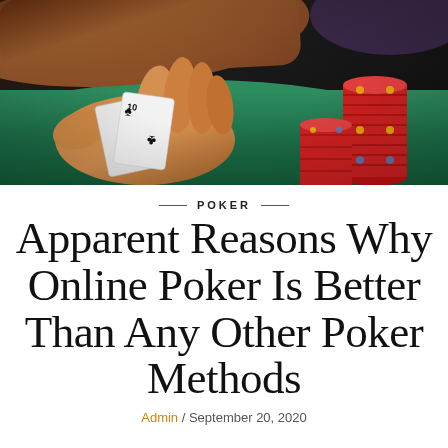[Figure (photo): Close-up photo of a person's hand holding two playing cards (showing spade suits) on a green felt poker table, with tall stacks of red casino chips on the right side. Warm lighting with dark background.]
POKER
Apparent Reasons Why Online Poker Is Better Than Any Other Poker Methods
Admin / September 20, 2020